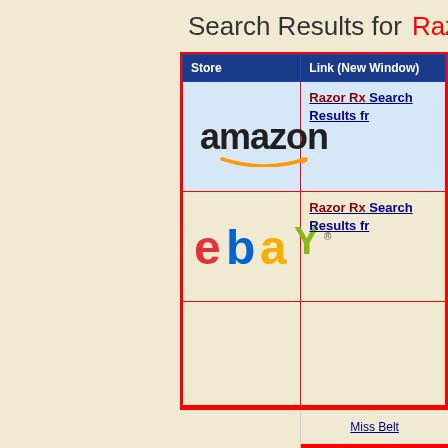Search Results for Razor Rx
| Store | Link (New Window) |
| --- | --- |
| amazon [logo] | Razor Rx Search Results fr... |
| ebay [logo] | Razor Rx Search Results fr... |
|  |  |
Miss Belt